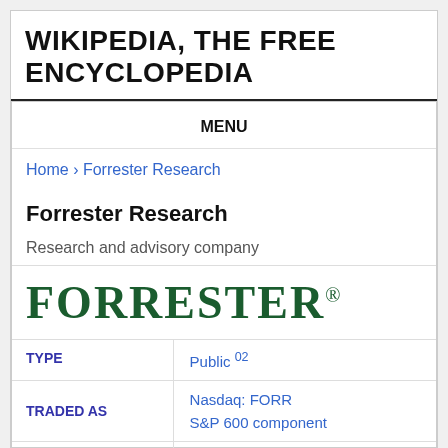WIKIPEDIA, THE FREE ENCYCLOPEDIA
MENU
Home › Forrester Research
Forrester Research
Research and advisory company
[Figure (logo): Forrester logo in dark green serif uppercase text with registered trademark symbol]
| Field | Value |
| --- | --- |
| TYPE | Public 02 |
| TRADED AS | Nasdaq: FORR
S&P 600 component |
|  | Market research |